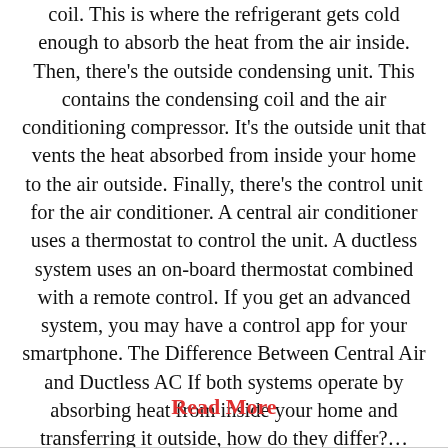coil. This is where the refrigerant gets cold enough to absorb the heat from the air inside. Then, there's the outside condensing unit. This contains the condensing coil and the air conditioning compressor. It's the outside unit that vents the heat absorbed from inside your home to the air outside. Finally, there's the control unit for the air conditioner. A central air conditioner uses a thermostat to control the unit. A ductless system uses an on-board thermostat combined with a remote control. If you get an advanced system, you may have a control app for your smartphone. The Difference Between Central Air and Ductless AC If both systems operate by absorbing heat from inside your home and transferring it outside, how do they differ?...
Read More